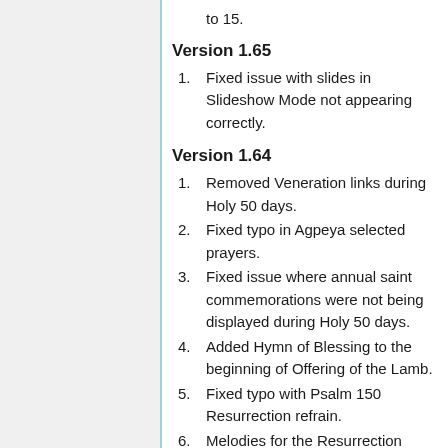to 15.
Version 1.65
Fixed issue with slides in Slideshow Mode not appearing correctly.
Version 1.64
Removed Veneration links during Holy 50 days.
Fixed typo in Agpeya selected prayers.
Fixed issue where annual saint commemorations were not being displayed during Holy 50 days.
Added Hymn of Blessing to the beginning of Offering of the Lamb.
Fixed typo with Psalm 150 Resurrection refrain.
Melodies for the Resurrection